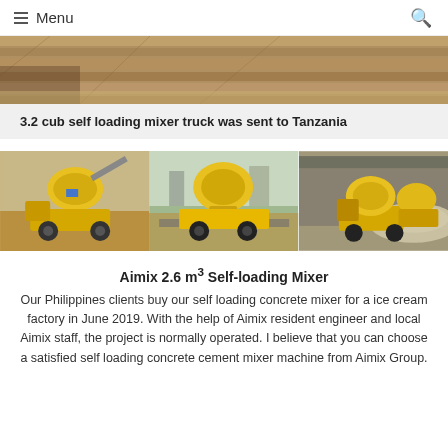Menu
[Figure (photo): Top cropped photo of construction site with wooden boards/formwork, sandy ground visible]
3.2 cub self loading mixer truck was sent to Tanzania
[Figure (photo): Three photos of yellow self-loading concrete mixer trucks in operation at construction sites]
Aimix 2.6 m³ Self-loading Mixer
Our Philippines clients buy our self loading concrete mixer for a ice cream factory in June 2019. With the help of Aimix resident engineer and local Aimix staff, the project is normally operated. I believe that you can choose a satisfied self loading concrete cement mixer machine from Aimix Group.